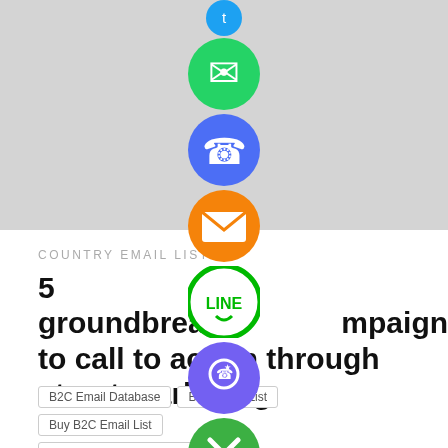[Figure (screenshot): Social media sharing icons column (WhatsApp green, phone call blue-purple, email orange, LINE green, Viber purple, close green) overlaid on page content]
COUNTRY EMAIL LIST
5 groundbreaking campaigns to call to action through street marketing
B2C Email Database
B2C Email List
Buy B2C Email List
Buy Company Email Database
Buy Consumer Email Database
Company Email Database
consumer email list